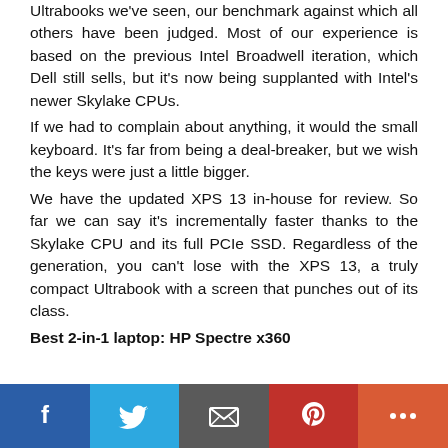Ultrabooks we've seen, our benchmark against which all others have been judged. Most of our experience is based on the previous Intel Broadwell iteration, which Dell still sells, but it's now being supplanted with Intel's newer Skylake CPUs.
If we had to complain about anything, it would the small keyboard. It's far from being a deal-breaker, but we wish the keys were just a little bigger.
We have the updated XPS 13 in-house for review. So far we can say it's incrementally faster thanks to the Skylake CPU and its full PCIe SSD. Regardless of the generation, you can't lose with the XPS 13, a truly compact Ultrabook with a screen that punches out of its class.
Best 2-in-1 laptop: HP Spectre x360
[Figure (infographic): Social sharing bar with Facebook (blue), Twitter (light blue), Email (grey), Pinterest (red), and More (orange-red) buttons]